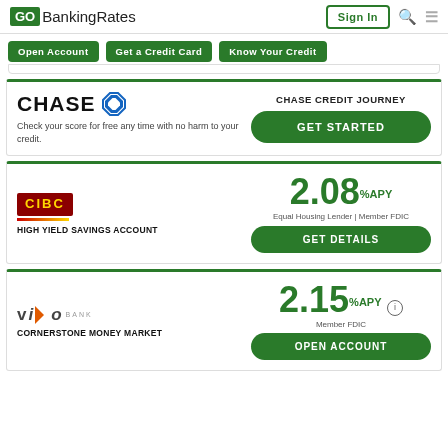GoBankingRates | Sign In
Open Account
Get a Credit Card
Know Your Credit
[Figure (logo): Chase logo with text and octagon symbol]
Check your score for free any time with no harm to your credit.
CHASE CREDIT JOURNEY
GET STARTED
[Figure (logo): CIBC bank logo in red and gold]
HIGH YIELD SAVINGS ACCOUNT
2.08% APY
Equal Housing Lender | Member FDIC
GET DETAILS
[Figure (logo): Vio Bank logo with orange flag]
CORNERSTONE MONEY MARKET
2.15% APY
Member FDIC
OPEN ACCOUNT